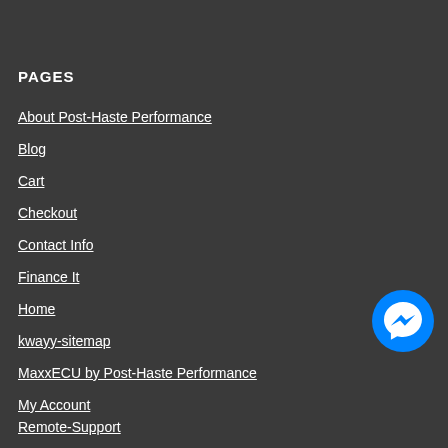PAGES
About Post-Haste Performance
Blog
Cart
Checkout
Contact Info
Finance It
Home
kwayy-sitemap
MaxxECU by Post-Haste Performance
My Account
Remote-Support
Shop
Terms and Conditions
[Figure (logo): Facebook Messenger chat button icon - blue circle with white lightning bolt messenger logo]